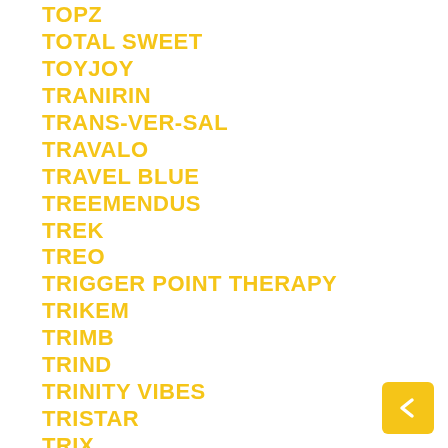TOPZ
TOTAL SWEET
TOYJOY
TRANIRIN
TRANS-VER-SAL
TRAVALO
TRAVEL BLUE
TREEMENDUS
TREK
TREO
TRIGGER POINT THERAPY
TRIKEM
TRIMB
TRIND
TRINITY VIBES
TRISTAR
TRIX
TRUE LIFE
TRUE ORGANICS
TRUEDARK
TRUSTCARE
TVINS FLAWLESS
TWEEK